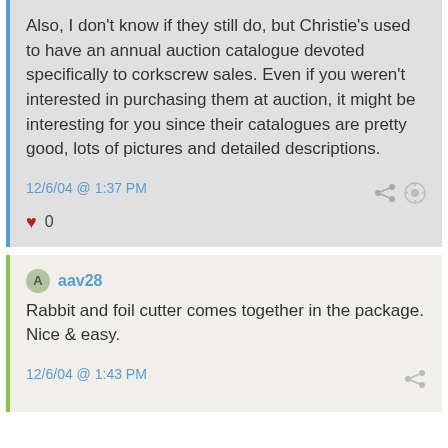Also, I don't know if they still do, but Christie's used to have an annual auction catalogue devoted specifically to corkscrew sales. Even if you weren't interested in purchasing them at auction, it might be interesting for you since their catalogues are pretty good, lots of pictures and detailed descriptions.
12/6/04 @ 1:37 PM
0
aav28
Rabbit and foil cutter comes together in the package. Nice & easy.
12/6/04 @ 1:43 PM